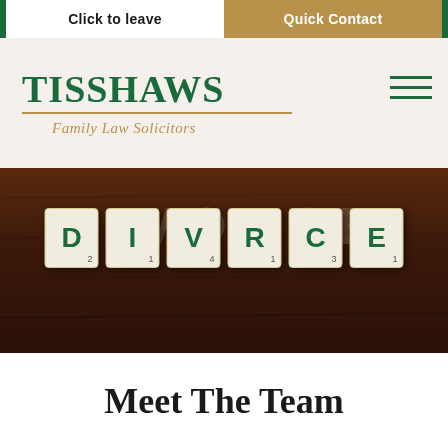Click to leave | Quick Contact
[Figure (logo): Tisshaws Family Law Solicitors logo with green text and gold underline]
[Figure (photo): Scrabble tiles spelling DIVORCE on a dark wooden table background]
Meet The Team